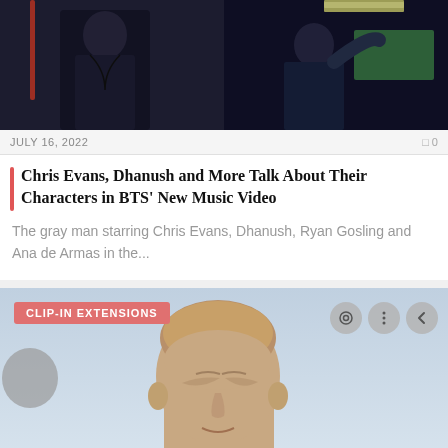[Figure (photo): Two film stills side by side: left shows a man in a dark suit, right shows a man gesturing in a dark scene]
JULY 16, 2022   □0
Chris Evans, Dhanush and More Talk About Their Characters in BTS' New Music Video
The gray man starring Chris Evans, Dhanush, Ryan Gosling and Ana de Armas in the...
[Figure (photo): Man with short brown hair looking up, outdoors against a light sky background, with CLIP-IN EXTENSIONS badge and icon controls overlay]